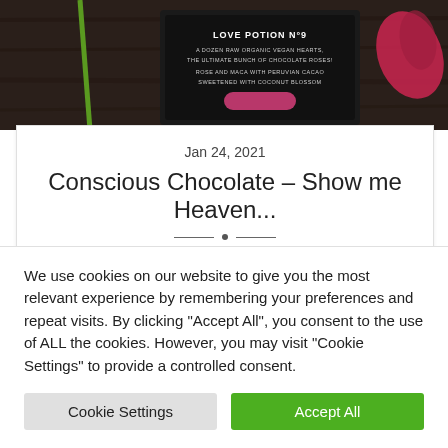[Figure (photo): Product photo showing a dark chocolate box labeled 'Love Potion No 9 - A Dozen Raw Organic Vegan Hearts, The Ultimate Bunch of Chocolate Roses! Rose and Maca with Peruvian Cacao Sweetened with Coconut Blossom', with rose petals and a green stem visible.]
Jan 24, 2021
Conscious Chocolate – Show me Heaven…
Who doesn't need more chocolate in their life? Well, we're delighted to offering you the chance to win this amazing set of Raw C…
We use cookies on our website to give you the most relevant experience by remembering your preferences and repeat visits. By clicking "Accept All", you consent to the use of ALL the cookies. However, you may visit "Cookie Settings" to provide a controlled consent.